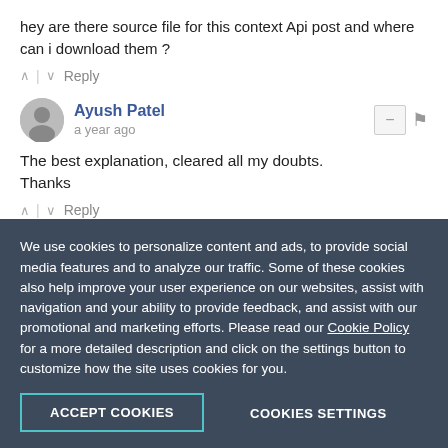hey are there source file for this context Api post and where can i download them ?
^ | v Reply
Ayush Patel
a year ago
The best explanation, cleared all my doubts.
Thanks
^ | v Reply
Özgür BAYRAM
We use cookies to personalize content and ads, to provide social media features and to analyze our traffic. Some of these cookies also help improve your user experience on our websites, assist with navigation and your ability to provide feedback, and assist with our promotional and marketing efforts. Please read our Cookie Policy for a more detailed description and click on the settings button to customize how the site uses cookies for you.
ACCEPT COOKIES
COOKIES SETTINGS